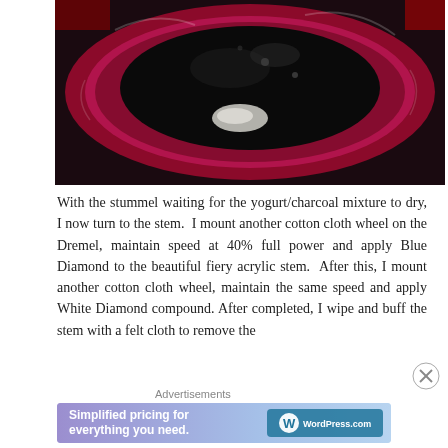[Figure (photo): Close-up photo of a pipe stummel bowl viewed from above, showing a dark black interior with a white residue at the bottom, surrounded by a deep red/purple and white striped rim.]
With the stummel waiting for the yogurt/charcoal mixture to dry, I now turn to the stem.  I mount another cotton cloth wheel on the Dremel, maintain speed at 40% full power and apply Blue Diamond to the beautiful fiery acrylic stem.  After this, I mount another cotton cloth wheel, maintain the same speed and apply White Diamond compound. After completed, I wipe and buff the stem with a felt cloth to remove the
Advertisements
[Figure (screenshot): WordPress.com advertisement banner: 'Simplified pricing for everything you need.' with WordPress.com logo on a purple/blue gradient background.]